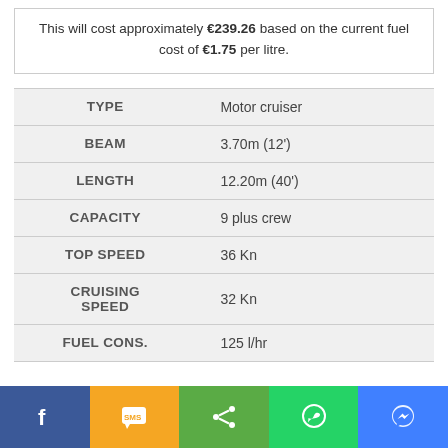This will cost approximately €239.26 based on the current fuel cost of €1.75 per litre.
| TYPE |  |
| --- | --- |
| TYPE | Motor cruiser |
| BEAM | 3.70m (12') |
| LENGTH | 12.20m (40') |
| CAPACITY | 9 plus crew |
| TOP SPEED | 36 Kn |
| CRUISING SPEED | 32 Kn |
| FUEL CONS. | 125 l/hr |